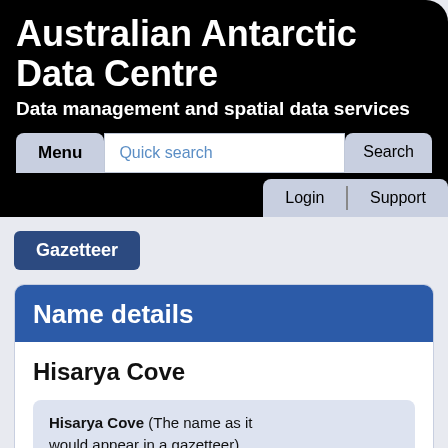Australian Antarctic Data Centre
Data management and spatial data services
[Figure (screenshot): Navigation bar with Menu button, Quick search input field, Search button, Login and Support buttons]
Gazetteer
Name details
Hisarya Cove
Hisarya Cove (The name as it would appear in a gazetteer)